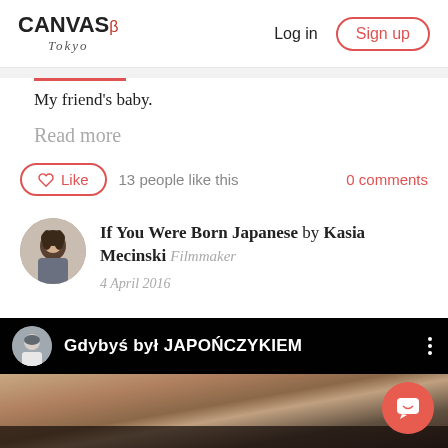CANVAS β Tokyo  Log in  Sign up
My friend's baby.
Read more
Like  13 people like this  0 comments
If You Were Born Japanese by Kasia Mecinski Filmmaker
4 April 2016
[Figure (screenshot): Video thumbnail with dark top bar showing avatar, title 'Gdybyś był JAPOŃCZYKIEM', three-dot menu, and a blurred close-up face image below]